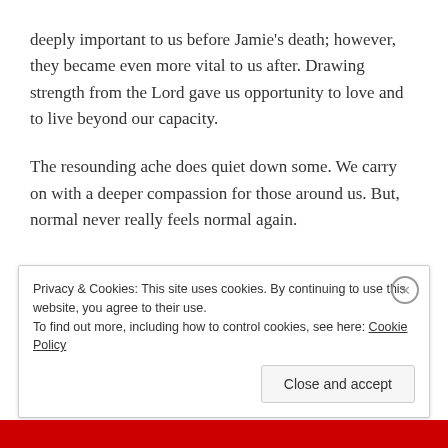deeply important to us before Jamie's death; however, they became even more vital to us after.  Drawing strength from the Lord gave us opportunity to love and to live beyond our capacity.
The resounding ache does quiet down some.  We carry on with a deeper compassion for those around us.  But, normal never really feels normal again.
Privacy & Cookies: This site uses cookies. By continuing to use this website, you agree to their use.
To find out more, including how to control cookies, see here: Cookie Policy
Close and accept